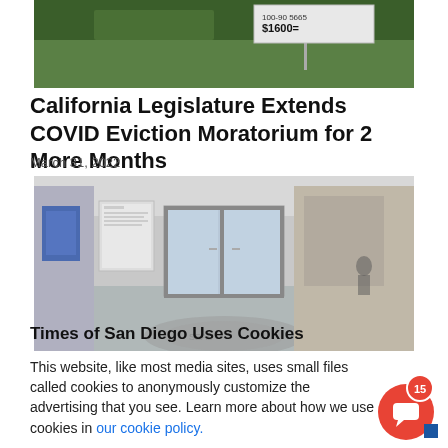[Figure (photo): Partial top of a photo showing a green lawn area with a sign displaying rental price information, partially cut off showing '$600' or similar]
California Legislature Extends COVID Eviction Moratorium for 2 More Months
March 31, 2022
[Figure (photo): Interior lobby or hallway of a government building with glass doors, tiled floor with a circular emblem/seal, and bulletin boards]
Times of San Diego Uses Cookies
This website, like most media sites, uses small files called cookies to anonymously customize the advertising that you see. Learn more about how we use cookies in our cookie policy.